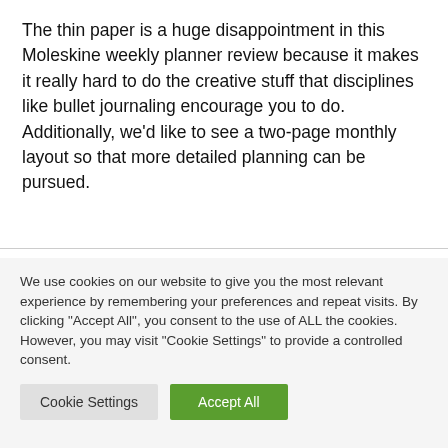The thin paper is a huge disappointment in this Moleskine weekly planner review because it makes it really hard to do the creative stuff that disciplines like bullet journaling encourage you to do. Additionally, we'd like to see a two-page monthly layout so that more detailed planning can be pursued.
We use cookies on our website to give you the most relevant experience by remembering your preferences and repeat visits. By clicking "Accept All", you consent to the use of ALL the cookies. However, you may visit "Cookie Settings" to provide a controlled consent.